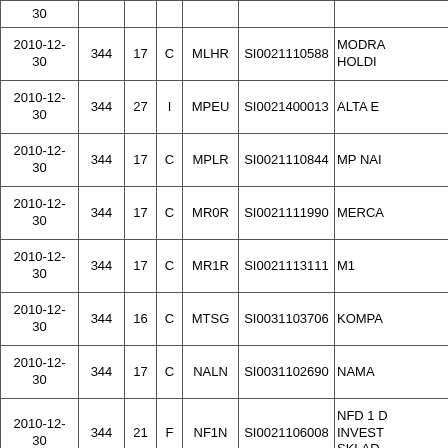| Date | Col2 | Col3 | Col4 | Ticker | ISIN | Name |
| --- | --- | --- | --- | --- | --- | --- |
| 30 |  |  |  |  |  |  |
| 2010-12-30 | 344 | 17 | C | MLHR | SI0021110588 | MODRA HOLDING |
| 2010-12-30 | 344 | 27 | I | MPEU | SI0021400013 | ALTA E |
| 2010-12-30 | 344 | 17 | C | MPLR | SI0021110844 | MP NAI |
| 2010-12-30 | 344 | 17 | C | MR0R | SI0021111990 | MERCA |
| 2010-12-30 | 344 | 17 | C | MR1R | SI0021113111 | M1 |
| 2010-12-30 | 344 | 16 | C | MTSG | SI0031103706 | KOMPA |
| 2010-12-30 | 344 | 17 | C | NALN | SI0031102690 | NAMA |
| 2010-12-30 | 344 | 21 | F | NF1N | SI0021106008 | NFD 1 D INVEST SKLAD |
| 2010-12-30 | 344 | 17 | C | NF2R | SI0021112006 | NFD HO |